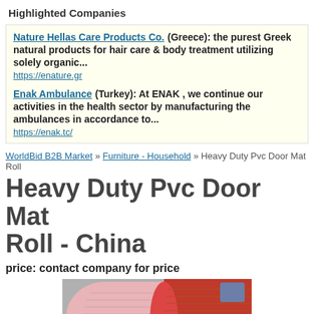Highlighted Companies
Nature Hellas Care Products Co. (Greece): the purest Greek natural products for hair care & body treatment utilizing solely organic... https://enature.gr
Enak Ambulance (Turkey): At ENAK , we continue our activities in the health sector by manufacturing the ambulances in accordance to... https://enak.tc/
WorldBid B2B Market » Furniture - Household » Heavy Duty Pvc Door Mat Roll
Heavy Duty Pvc Door Mat Roll - China
price: contact company for price
[Figure (photo): Photo of rolls of PVC door mat material in pink/red colors]